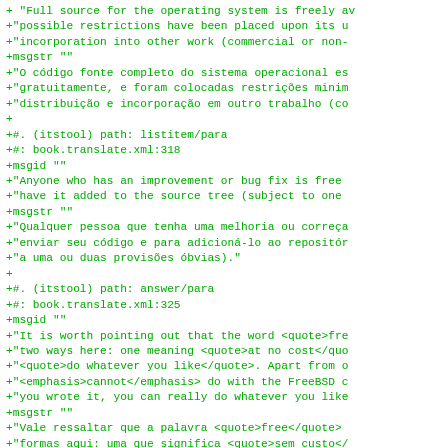+ "Full source for the operating system is freely av
+"possible restrictions have been placed upon its u
+"incorporation into other work (commercial or non-
+msgstr ""
+"O código fonte completo do sistema operacional es
+"gratuitamente, e foram colocadas restrições minim
+"distribuição e incorporação em outro trabalho (co
+
+#. (itstool) path: listitem/para
+#: book.translate.xml:318
+msgid ""
+"Anyone who has an improvement or bug fix is free
+"have it added to the source tree (subject to one
+msgstr ""
+"Qualquer pessoa que tenha uma melhoria ou correça
+"enviar seu código e para adicioná-lo ao repositór
+"a uma ou duas provisões óbvias)."
+
+#. (itstool) path: answer/para
+#: book.translate.xml:325
+msgid ""
+"It is worth pointing out that the word <quote>fre
+"two ways here: one meaning <quote>at no cost</quo
+"<quote>do whatever you like</quote>. Apart from o
+"<emphasis>cannot</emphasis> do with the FreeBSD c
+"you wrote it, you can really do whatever you like
+msgstr ""
+"Vale ressaltar que a palavra <quote>free</quote>
+"formas aqui: uma que significa <quote>sem custo</
+"que significa <quote>faça o que quiser</quote> (b
+"ações que você <emphasis>não</emphasis> pode fazer